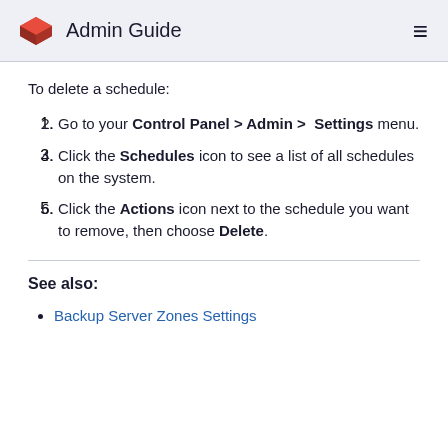Admin Guide
To delete a schedule:
Go to your Control Panel > Admin > Settings menu.
Click the Schedules icon to see a list of all schedules on the system.
Click the Actions icon next to the schedule you want to remove, then choose Delete.
See also:
Backup Server Zones Settings